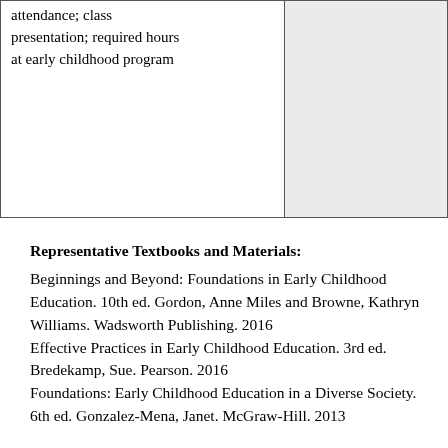|  |  |
| --- | --- |
| attendance; class presentation; required hours at early childhood program |  |
Representative Textbooks and Materials:
Beginnings and Beyond: Foundations in Early Childhood Education. 10th ed. Gordon, Anne Miles and Browne, Kathryn Williams. Wadsworth Publishing. 2016
Effective Practices in Early Childhood Education. 3rd ed. Bredekamp, Sue. Pearson. 2016
Foundations: Early Childhood Education in a Diverse Society. 6th ed. Gonzalez-Mena, Janet. McGraw-Hill. 2013
SpanishTextbook:
La Infancia y su Desarrollo. Gordon, Anne Miles and Browne, Kathryn Williams. Wadsworth Publishing. 2001 (classic)